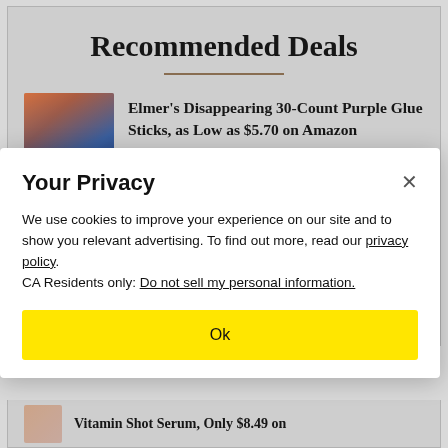Recommended Deals
[Figure (photo): Product photo: Elmer's Disappearing Purple Glue Sticks box packaging, orange and blue]
Elmer's Disappearing 30-Count Purple Glue Sticks, as Low as $5.70 on Amazon
Your Privacy
We use cookies to improve your experience on our site and to show you relevant advertising. To find out more, read our privacy policy.
CA Residents only: Do not sell my personal information.
Ok
Vitamin Shot Serum, Only $8.49 on